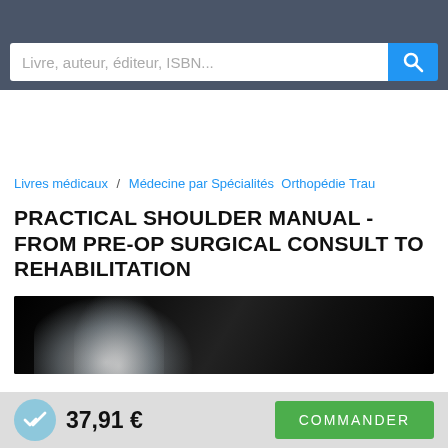Livre, auteur, éditeur, ISBN...
Livres médicaux / Médecine par Spécialités Orthopédie Trau...
PRACTICAL SHOULDER MANUAL - FROM PRE-OP SURGICAL CONSULT TO REHABILITATION
[Figure (photo): Book cover image showing a shoulder X-ray on black background]
37,91 € COMMANDER